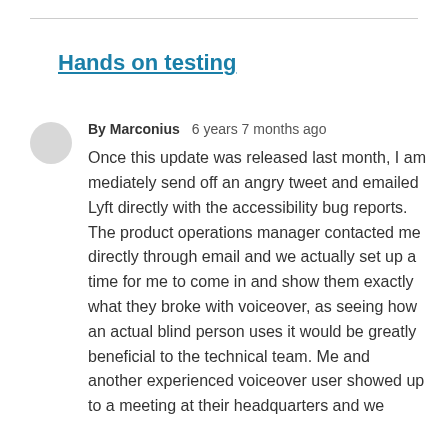Hands on testing
By Marconius   6 years 7 months ago
Once this update was released last month, I am mediately send off an angry tweet and emailed Lyft directly with the accessibility bug reports. The product operations manager contacted me directly through email and we actually set up a time for me to come in and show them exactly what they broke with voiceover, as seeing how an actual blind person uses it would be greatly beneficial to the technical team. Me and another experienced voiceover user showed up to a meeting at their headquarters and we